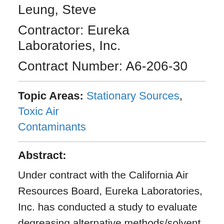Leung, Steve
Contractor: Eureka Laboratories, Inc.
Contract Number: A6-206-30
Topic Areas: Stationary Sources, Toxic Air Contaminants
Abstract:
Under contract with the California Air Resources Board, Eureka Laboratories, Inc. has conducted a study to evaluate degreasing alternative methods/solvent systems with the objective of reducing or eliminating the use of organic solvents for degreasing applications. This study included both hydrocarbon emissions and cost comparisons in the evaluation of degreasing alternatives.